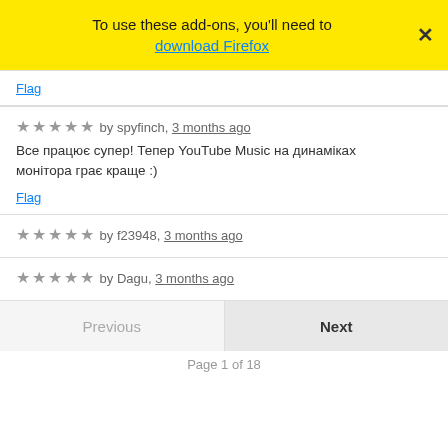To use these add-ons, you'll need to download Firefox
Flag
★★★★★ by spyfinch, 3 months ago
Все працює супер! Тепер YouTube Music на динаміках монітора грає краще :)
Flag
★★★★★ by f23948, 3 months ago
★★★★★ by Dagu, 3 months ago
Previous  Next
Page 1 of 18